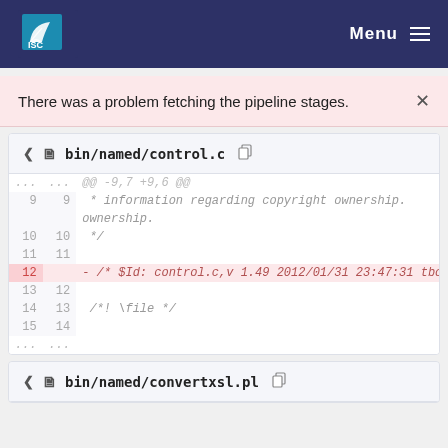ISC Menu
There was a problem fetching the pipeline stages.
[Figure (screenshot): Code diff view for bin/named/control.c showing lines 9-15 with line 12 removed (containing $Id: control.c,v 1.49 2012/01/31 23:47:31 tbox Exp $)]
bin/named/convertxsl.pl